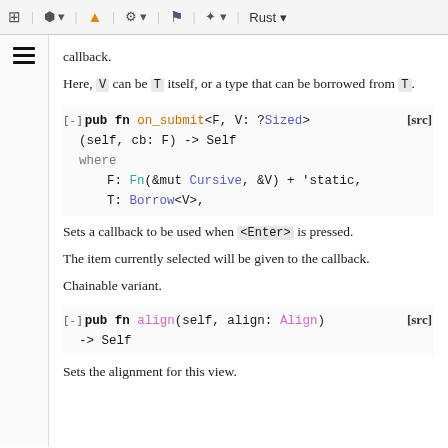toolbar with icons and Rust language selector
callback.
Here, V can be T itself, or a type that can be borrowed from T.
[-] pub fn on_submit<F, V: ?Sized> (self, cb: F) -> Self where F: Fn(&mut Cursive, &V) + 'static, T: Borrow<V>, [src]
Sets a callback to be used when <Enter> is pressed.
The item currently selected will be given to the callback.
Chainable variant.
[-] pub fn align(self, align: Align) -> Self [src]
Sets the alignment for this view.